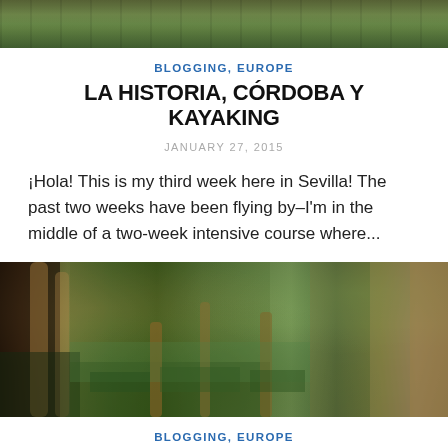[Figure (photo): Top partial photo of trees/nature scene, cropped at top of page]
BLOGGING, EUROPE
LA HISTORIA, CÓRDOBA Y KAYAKING
JANUARY 27, 2015
¡Hola! This is my third week here in Sevilla! The past two weeks have been flying by–I'm in the middle of a two-week intensive course where...
[Figure (photo): Photo of gardens in Sevilla, showing manicured hedges, palm trees, a reflective pool, and ornate buildings]
BLOGGING, EUROPE
LA PLAZA DE ESPAÑA, EL FLAMENCO Y EL REAL ALCÁZAR